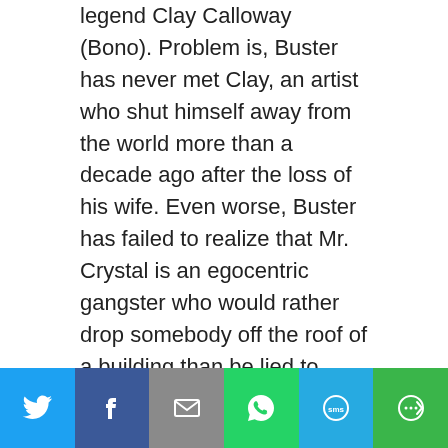legend Clay Calloway (Bono). Problem is, Buster has never met Clay, an artist who shut himself away from the world more than a decade ago after the loss of his wife. Even worse, Buster has failed to realize that Mr. Crystal is an egocentric gangster who would rather drop somebody off the roof of a building than be lied to.

As Gunter helps Buster dream up an out-of-this-world theatrical masterpiece, and the pressure (and sinister threats) from Mr. Crystal mount, Rosita's leading role in the show gets ripped away and handed to Mr. Crystal's spoiled daughter, Porsha, played by Grammy-nominated artist Halsey. Desperate to save the show, and his life, Buster embarks on a quest to find Clay and
[Figure (other): Social sharing bar with icons for Twitter, Facebook, Email, WhatsApp, SMS, and More]